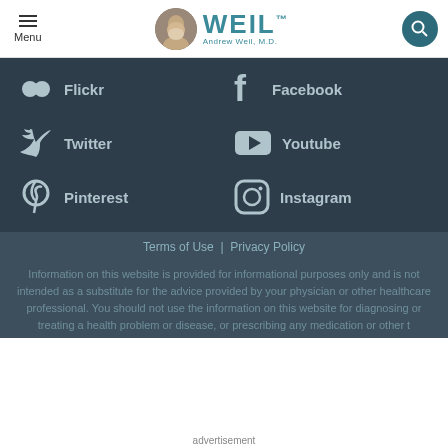Menu | WEIL Andrew Weil, M.D.
[Figure (infographic): Social media links grid on dark background: Flickr, Facebook, Twitter, Youtube, Pinterest, Instagram]
Terms of Use | Privacy Policy
Information on this website is provided for informational purposes only and is not intended as a substitute for the advice provided by your physician or other healthcare professional. You should not use the information on this website for diagnosing or treating a health problem or disease, or prescribing any medication or other t...
advertisement